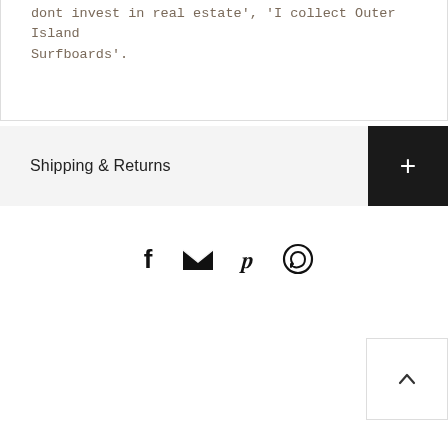dont invest in real estate', 'I collect Outer Island Surfboards'.
Shipping & Returns
[Figure (infographic): Social sharing icons: Facebook, Email (envelope), Pinterest, WhatsApp]
[Figure (infographic): Back to top button with upward chevron arrow]